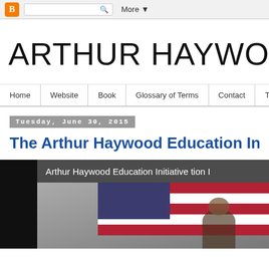Blogger navigation bar with search and More button
ARTHUR HAYWOOD
Home | Website | Book | Glossary of Terms | Contact | Tuto...
Tuesday, June 30, 2015
The Arthur Haywood Education Initiative
[Figure (screenshot): Video thumbnail showing Arthur Haywood Education Initiative title with a person in front of an American flag]